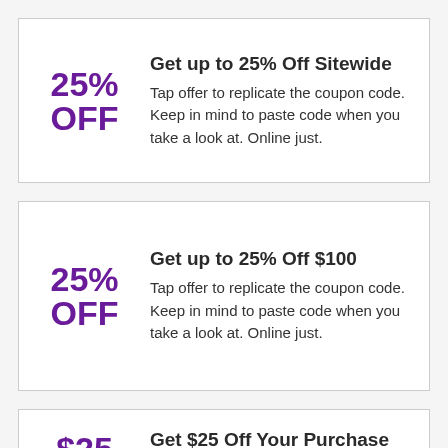Get up to 25% Off Sitewide
25% OFF
Tap offer to replicate the coupon code. Keep in mind to paste code when you take a look at. Online just.
Get up to 25% Off $100
25% OFF
Tap offer to replicate the coupon code. Keep in mind to paste code when you take a look at. Online just.
Get $25 Off Your Purchase of $100 And More
$25